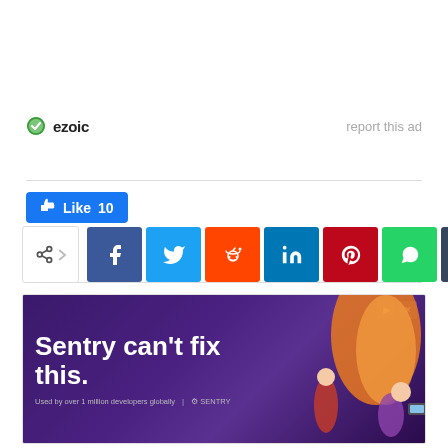[Figure (logo): Ezoic logo with green checkmark icon and bold text 'ezoic', with 'report this ad' link on the right]
[Figure (infographic): Facebook Like button showing 'Like 10', followed by a row of social share buttons: share, facebook, twitter, reddit, linkedin, pinterest, whatsapp, tumblr]
[Figure (screenshot): Sentry advertisement banner with purple background, text 'Sentry can't fix this.' and 'Used by over 1 million developers globally | SENTRY' with illustrated characters on the right]